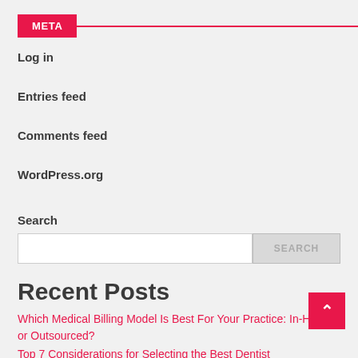META
Log in
Entries feed
Comments feed
WordPress.org
Search
Recent Posts
Which Medical Billing Model Is Best For Your Practice: In-House or Outsourced?
Top 7 Considerations for Selecting the Best Dentist